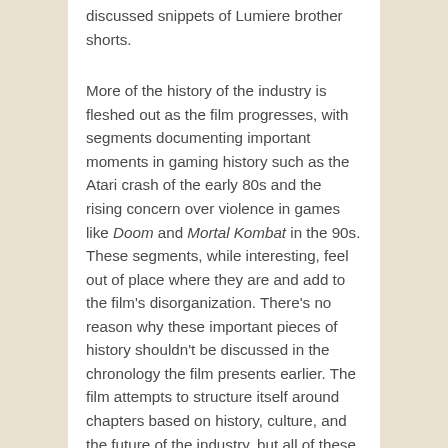discussed snippets of Lumiere brother shorts.
More of the history of the industry is fleshed out as the film progresses, with segments documenting important moments in gaming history such as the Atari crash of the early 80s and the rising concern over violence in games like Doom and Mortal Kombat in the 90s. These segments, while interesting, feel out of place where they are and add to the film's disorganization. There's no reason why these important pieces of history shouldn't be discussed in the chronology the film presents earlier. The film attempts to structure itself around chapters based on history, culture, and the future of the industry, but all of these inevitably affect each other in some way, making organization along these lines unwieldy. These hops up and down through history work by an interior logic that may make sense for fans already familiar with the industry's history, but might seem muddled and unfocused for others. This begs the question as to whether this is a documentary for gamers, who are having what they already know reaffirmed, or for nongamers